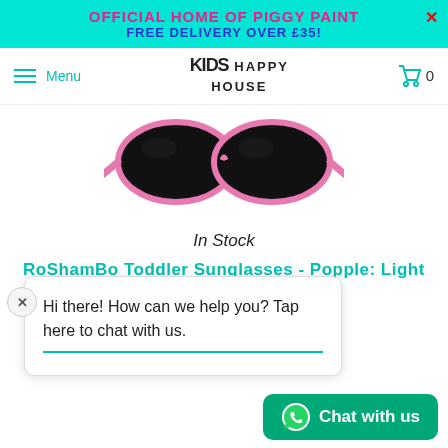OFFICIAL HOME OF PIGGY PAINT
FREE DELIVERY OVER £35!
[Figure (screenshot): Website navigation bar with hamburger menu, Kids Happy House logo, and cart icon showing 0 items]
[Figure (photo): Pink and black RoShamBo toddler sunglasses shown from the front on white background]
In Stock
RoShamBo Toddler Sunglasses - Popple: Light Pink / Black
Hi there! How can we help you? Tap here to chat with us.
[Figure (screenshot): WhatsApp Chat with us button at bottom right]